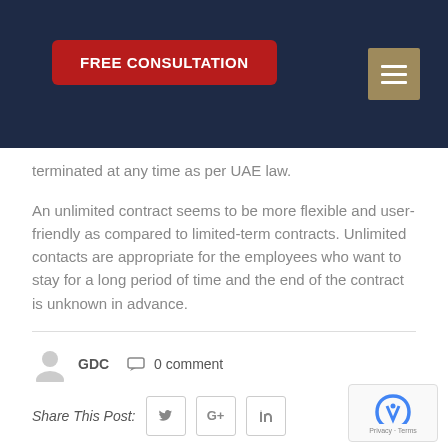FREE CONSULTATION
terminated at any time as per UAE law.
An unlimited contract seems to be more flexible and user-friendly as compared to limited-term contracts. Unlimited contacts are appropriate for the employees who want to stay for a long period of time and the end of the contract is unknown in advance.
GDC  0 comment
Share This Post: